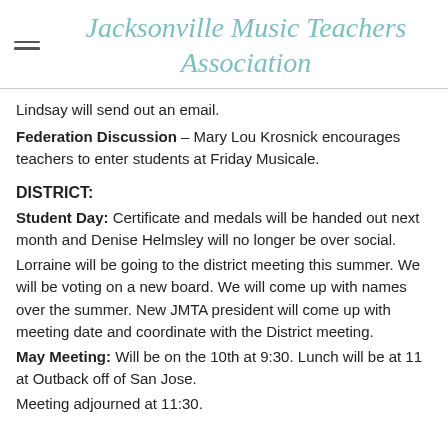Jacksonville Music Teachers Association
Lindsay will send out an email.
Federation Discussion – Mary Lou Krosnick encourages teachers to enter students at Friday Musicale.
DISTRICT:
Student Day: Certificate and medals will be handed out next month and Denise Helmsley will no longer be over social.
Lorraine will be going to the district meeting this summer. We will be voting on a new board. We will come up with names over the summer. New JMTA president will come up with meeting date and coordinate with the District meeting.
May Meeting: Will be on the 10th at 9:30. Lunch will be at 11 at Outback off of San Jose.
Meeting adjourned at 11:30.